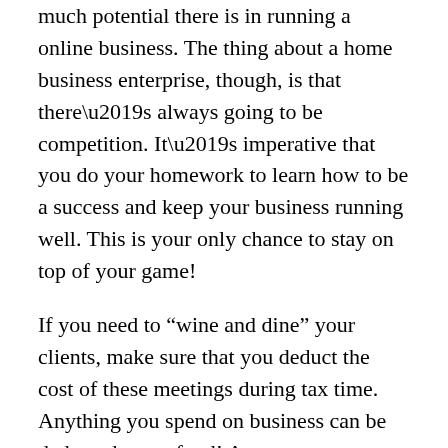much potential there is in running a online business. The thing about a home business enterprise, though, is that there’s always going to be competition. It’s imperative that you do your homework to learn how to be a success and keep your business running well. This is your only chance to stay on top of your game!
If you need to “wine and dine” your clients, make sure that you deduct the cost of these meetings during tax time. Anything you spend on business can be deducted, even food! Any expenses involving clients or potential clients are normally tax-deductible only when they can be deemed as a paying or likely to pay in the future client, so exercise caution.